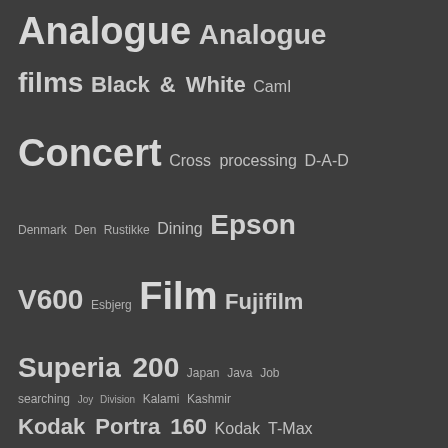[Figure (other): Tag cloud on dark background with photography/music related tags of varying sizes: Analogue, Analogue films, Black & White, CamI, Concert, Cross processing, D-A-D, Denmark, Den Rustikke, Dining, Epson V600, Esbjerg, Film, Fujifilm Superia 200, Japan, Java, Job searching, Joy Division, Kalami, Kashmir, Kodak Portra 160, Kodak T-Max 100, Kodak T-Max 400, Learning analogue, Lomography, Lomography Fisheye, London, Margueritruten, Meta, Negatif+, Nikon FM, Noah and the Whale, Northside Festival]